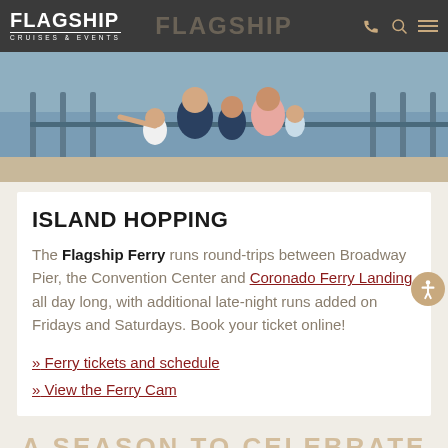FLAGSHIP CRUISES & EVENTS
[Figure (photo): Family photo on a boat/ferry deck — parents and children looking out at the water]
ISLAND HOPPING
The Flagship Ferry runs round-trips between Broadway Pier, the Convention Center and Coronado Ferry Landing all day long, with additional late-night runs added on Fridays and Saturdays. Book your ticket online!
» Ferry tickets and schedule
» View the Ferry Cam
A SEASON TO CELEBRATE